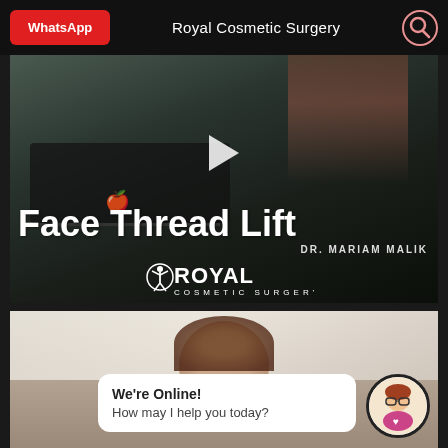WhatsApp | Royal Cosmetic Surgery
[Figure (screenshot): Video thumbnail showing a doctor at a desk with laptop, overlaid with text 'Face Thread Lift', 'DR. MARIAM MALIK', and the Royal Cosmetic Surgery logo. Play button visible in center.]
[Figure (photo): Second video thumbnail showing a person receiving a cosmetic treatment, with a chat widget overlay reading 'We're Online! How may I help you today?' and a support avatar in the bottom right.]
We're Online!
How may I help you today?